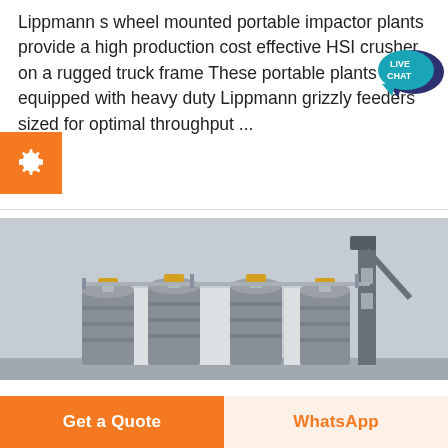Lippmann s wheel mounted portable impactor plants provide a high production cost effective HSI crusher on a rugged truck frame These portable plants are equipped with heavy duty Lippmann grizzly feeders sized for optimal throughput ...
[Figure (photo): Industrial silos — four large cylindrical grey cement storage silos with a conveyor tower, photographed against an overcast sky]
Get a Quote
WhatsApp